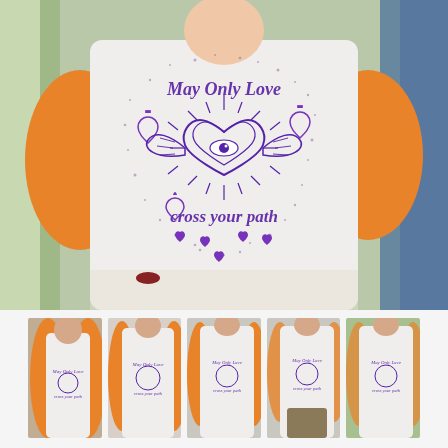[Figure (photo): Main product photo: woman wearing a white baseball-style raglan shirt with orange 3/4 sleeves. The shirt features a purple illustrated design with text 'May Only Love' at the top and 'cross your path' at the bottom, surrounded by sacred heart motifs, a winged heart with an eye, and small hearts/dots in purple.]
[Figure (photo): Thumbnail 1: close-up of woman wearing the white and orange raglan shirt with purple graphic design, dark background, facing camera directly.]
[Figure (photo): Thumbnail 2: woman wearing the white and orange raglan shirt, shown from torso up, light background.]
[Figure (photo): Thumbnail 3: woman wearing the white and orange raglan shirt with arms slightly raised, shown from torso up.]
[Figure (photo): Thumbnail 4: woman wearing the white and orange raglan shirt, hands in pockets, olive/khaki pants.]
[Figure (photo): Thumbnail 5: woman wearing the white and orange raglan shirt outdoors with plants/foliage in background.]